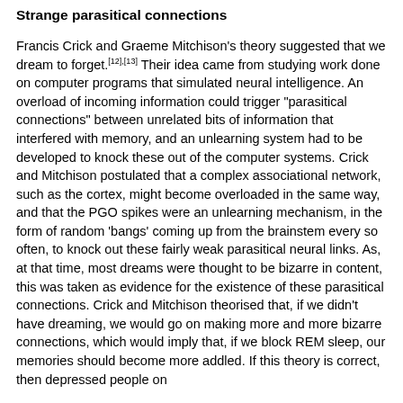Strange parasitical connections
Francis Crick and Graeme Mitchison's theory suggested that we dream to forget.[12],[13] Their idea came from studying work done on computer programs that simulated neural intelligence. An overload of incoming information could trigger "parasitical connections" between unrelated bits of information that interfered with memory, and an unlearning system had to be developed to knock these out of the computer systems. Crick and Mitchison postulated that a complex associational network, such as the cortex, might become overloaded in the same way, and that the PGO spikes were an unlearning mechanism, in the form of random 'bangs' coming up from the brainstem every so often, to knock out these fairly weak parasitical neural links. As, at that time, most dreams were thought to be bizarre in content, this was taken as evidence for the existence of these parasitical connections. Crick and Mitchison theorised that, if we didn't have dreaming, we would go on making more and more bizarre connections, which would imply that, if we block REM sleep, our memories should become more addled. If this theory is correct, then depressed people on